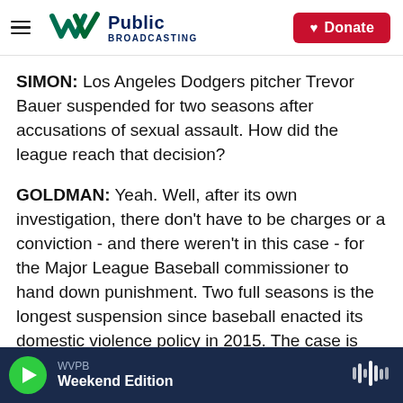[Figure (logo): WVPB Public Broadcasting logo with hamburger menu icon on left and red Donate button on right]
SIMON: Los Angeles Dodgers pitcher Trevor Bauer suspended for two seasons after accusations of sexual assault. How did the league reach that decision?
GOLDMAN: Yeah. Well, after its own investigation, there don't have to be charges or a conviction - and there weren't in this case - for the Major League Baseball commissioner to hand down punishment. Two full seasons is the longest suspension since baseball enacted its domestic violence policy in 2015. The case is also of note because Trevor Bauer is the first player who will appeal his
WVPB Weekend Edition